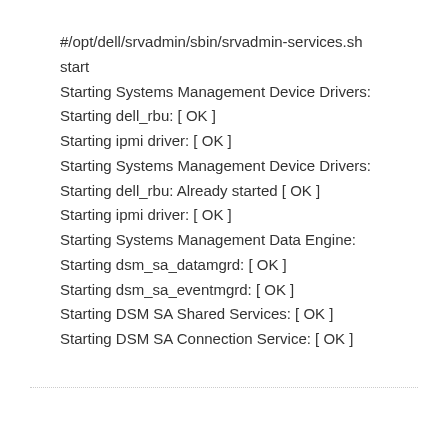#/opt/dell/srvadmin/sbin/srvadmin-services.sh start
Starting Systems Management Device Drivers:
Starting dell_rbu: [ OK ]
Starting ipmi driver: [ OK ]
Starting Systems Management Device Drivers:
Starting dell_rbu: Already started [ OK ]
Starting ipmi driver: [ OK ]
Starting Systems Management Data Engine:
Starting dsm_sa_datamgrd: [ OK ]
Starting dsm_sa_eventmgrd: [ OK ]
Starting DSM SA Shared Services: [ OK ]
Starting DSM SA Connection Service: [ OK ]